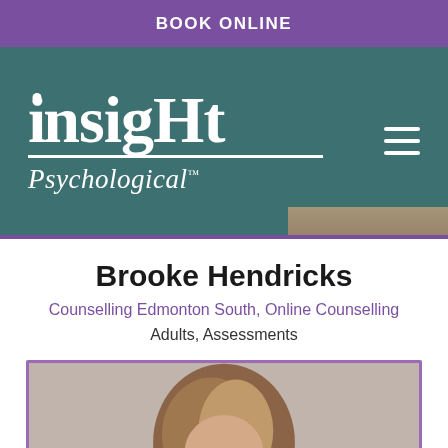BOOK ONLINE
[Figure (logo): Insight Psychological logo with teal/dark green background, white text reading 'INSIGHT Psychological' with a horizontal line separator and a hamburger menu icon on the right]
Brooke Hendricks
Counselling Edmonton South, Online Counselling
Adults, Assessments
[Figure (photo): Portrait photo of Brooke Hendricks, partially visible, showing top of head with brown hair, light gray background, framed with purple border]